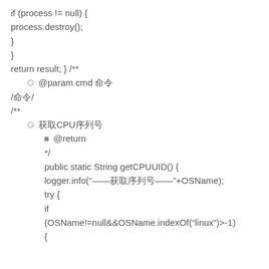if (process != null) {
process.destroy();
}
}
return result; } /**
◦ @param cmd 命令
/命令/
/**
◦ 获取CPU序列号
  ▪ @return
  */
  public static String getCPUUID() {
  logger.info("——获取序列号——"+OSName);
  try {
  if
  (OSName!=null&&OSName.indexOf("linux")>-1)
  {